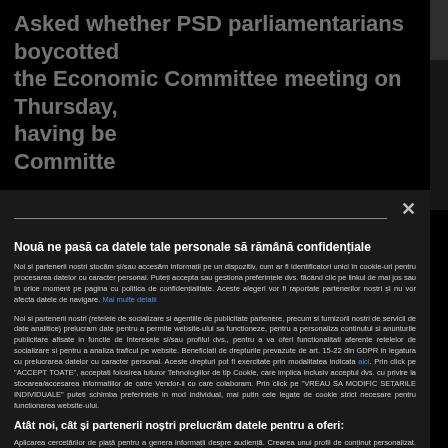Asked whether PSD parliamentarians boycotted the Economic Committee meeting on Thursday, having be Committe
Nouă ne pasă ca datele tale personale să rămână confidențiale
Noi și partenerii noștri stocăm și/sau accesăm informații pe un dispozitiv, cum ar fi identificatori unici în cookie-uri pentru procesarea datelor cu caracter personal. Puteți accepta sau gestiona preferințele dvs. făcând clic pe linkul de mai jos sau în orice moment pe pagina cu politica de confidențialitate. Aceste alegeri vor fi raportate partenerilor noștri și nu vor afecta datele de navigare. Mai multe detalii
Noi si partenerii nostri (retelele de socializare si agentiile de publicitate partenere, precum si furnizorii nostri de servicii de date analitice) prelucram date pentru a permite website-ului sa functioneze, pentru a personaliza continutul si anunturile publicitare afisate in functie de interesele si/sau profilul dvs., pentru a va oferi functionalitati aferente retelelor de socializare si pentru a analiza traficul pe website. Beneficiati de drepturile prevazute de art. 15-22 din GDPR in legatura cu prelucrarea datelor cu caracter personal. Aceste drepturi pot fi exercitate prin modalitatea indicata aici. Prin click pe "ACCEPT TOATE", acceptati folosirea tuturor Tehnologiilor de tip Cookie, care implica inclusiv acceptul dvs. cu privire la stocarea/accesarea informatiilor de catre Vendor-ii cu care colaboram. Prin click pe "VREAU SA MODIFIC SETARILE INDIVIDUALE" puteti schimba preferintele in mod individual, mai putin cele legate de cookie strict necesare pentru functionarea website-ului.
Atât noi, cât și partenerii noștri prelucrăm datele pentru a oferi:
Aplicarea cercetărilor de piață pentru a genera informații despre audiență. Crearea unui profil de conținut personalizat. Măsurarea performanței reclamelor. Măsurarea performanței conținutului. Selectarea reclamelor personalizate. Crearea unui profil de reclame personalizate. Selectarea reclamelor de bază. Dezvoltarea și îmbunătățirea produselor. Stocarea și/sau accesarea informațiilor de pe un dispozitiv. Selectarea conținutului personalizat. Date precise de geolocație și identificarea prin scanarea dispozitivului.
Listă parteneri (furnizori)
ACCEPT TOATE
VREAU SA MODIFIC SETARILE INDIVIDUAL